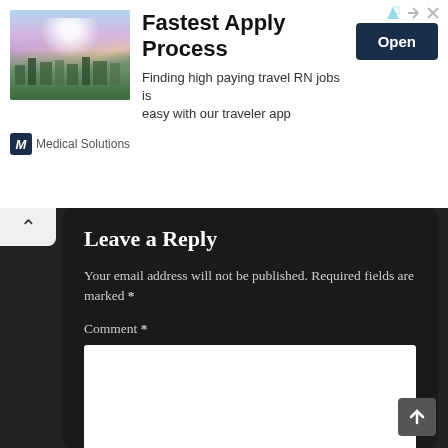[Figure (screenshot): Advertisement banner for Medical Solutions showing a Seattle cityscape with Mount Rainier, with text 'Fastest Apply Process' and an Open button]
Fastest Apply Process
Finding high paying travel RN jobs is easy with our traveler app
Medical Solutions
Leave a Reply
Your email address will not be published. Required fields are marked *
Comment *
Name *